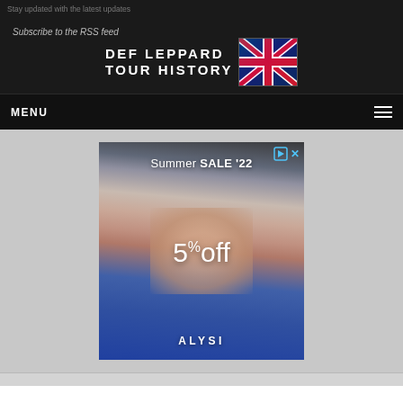Stay updated with the latest updates
[Figure (screenshot): Def Leppard Tour History website header with site logo text and UK flag graphic]
Subscribe to the RSS feed
MENU
[Figure (photo): Advertisement: Summer SALE '22 - 5% off - ALYSI brand. Photo shows person in blue shirt with hand under chin.]